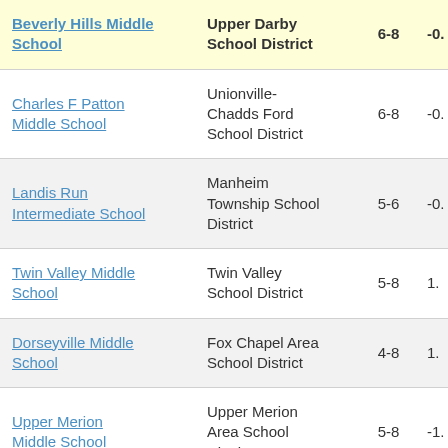| School | District | Grades | Score |
| --- | --- | --- | --- |
| Beverly Hills Middle School | Upper Darby School District | 6-8 | -0. |
| Charles F Patton Middle School | Unionville-Chadds Ford School District | 6-8 | -0. |
| Landis Run Intermediate School | Manheim Township School District | 5-6 | -0. |
| Twin Valley Middle School | Twin Valley School District | 5-8 | 1. |
| Dorseyville Middle School | Fox Chapel Area School District | 4-8 | 1. |
| Upper Merion Middle School | Upper Merion Area School District | 5-8 | -1. |
| Palmyra Area Middle School | Palmyra Area School District | 6-8 | 0. |
| Holland Middle | Council Rock |  |  |